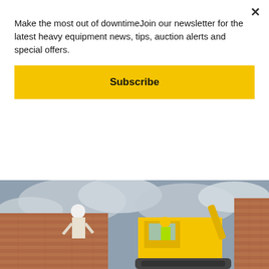Make the most out of downtimeJoin our newsletter for the latest heavy equipment news, tips, auction alerts and special offers.
Subscribe
compact excavators in Canada
August 2, 2018
[Figure (photo): Construction site photo showing a worker in white hard hat laying bricks on a wall, with a yellow compact excavator operated by a worker in high-visibility vest in the background, against a cloudy sky]